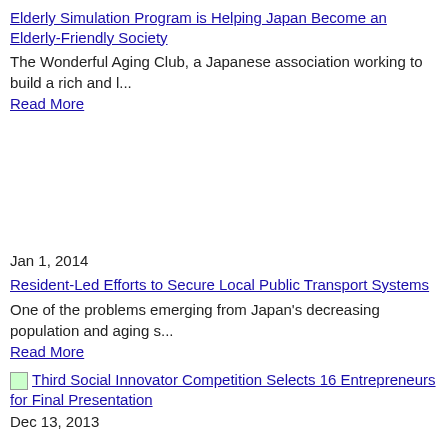Elderly Simulation Program is Helping Japan Become an Elderly-Friendly Society
The Wonderful Aging Club, a Japanese association working to build a rich and l...
Read More
Jan 1, 2014
Resident-Led Efforts to Secure Local Public Transport Systems
One of the problems emerging from Japan's decreasing population and aging s...
Read More
Third Social Innovator Competition Selects 16 Entrepreneurs for Final Presentation
Dec 13, 2013